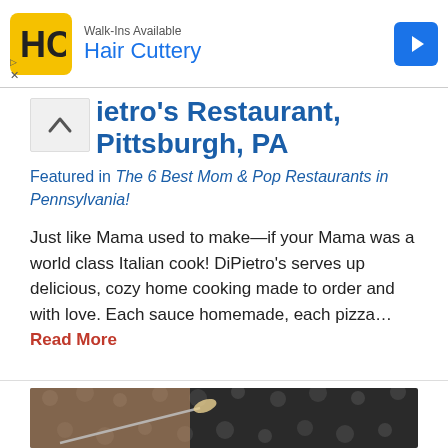[Figure (screenshot): Hair Cuttery advertisement banner with yellow logo, brand name in blue, and blue arrow button]
ietro's Restaurant, Pittsburgh, PA
Featured in The 6 Best Mom & Pop Restaurants in Pennsylvania!
Just like Mama used to make—if your Mama was a world class Italian cook! DiPietro's serves up delicious, cozy home cooking made to order and with love. Each sauce homemade, each pizza… Read More
[Figure (photo): Close-up photo of a hand holding a spoon with food, blurred dark background with white dots pattern (polka dot clothing)]